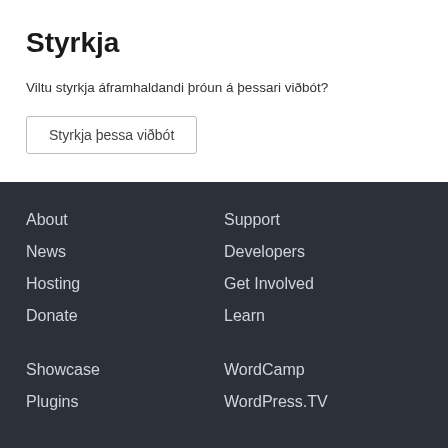Styrkja
Viltu styrkja áframhaldandi þróun á þessari viðbót?
Styrkja þessa viðbót
About
News
Hosting
Donate
Support
Developers
Get Involved
Learn
Showcase
WordCamp
Plugins
WordPress.TV